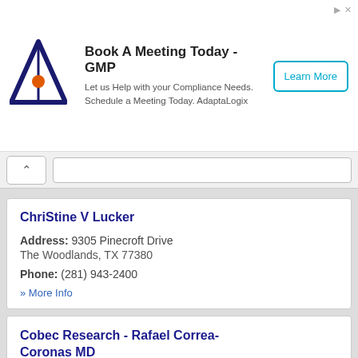[Figure (other): Advertisement banner: AdaptaLogix logo (triangle with orange dot) with text 'Book A Meeting Today - GMP', subtitle 'Let us Help with your Compliance Needs. Schedule a Meeting Today. AdaptaLogix', and a 'Learn More' button.]
ChriStine V Lucker
Address: 9305 Pinecroft Drive The Woodlands, TX 77380
Phone: (281) 943-2400
» More Info
Cobec Research - Rafael Correa-Coronas MD
Address: 98 N Misty Morning Trce The Woodlands, TX 77381